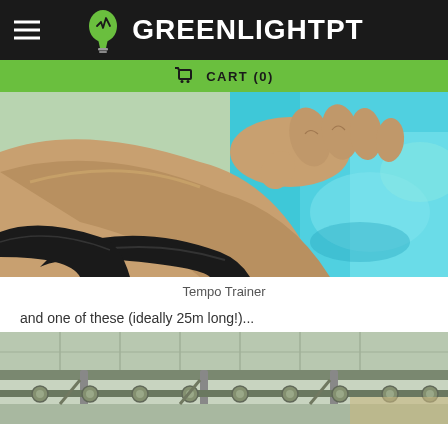GREENLIGHTPT
CART (0)
[Figure (photo): Close-up photo of a swimmer's wrist/arm with a black band (Tempo Trainer device) near a swimming pool with bright turquoise water in the background.]
Tempo Trainer
and one of these (ideally 25m long!)...
[Figure (photo): Photo looking up at the ceiling structure of an indoor swimming pool, showing metal beams, supports, and a glass/panel roof.]